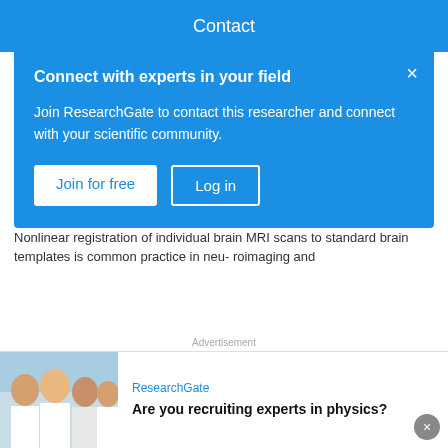Contact
Connect with experts in your field
Join ResearchGate to contact this researcher and connect with your scientific community.
Join for free   Log in
...information algorithm for atlas-based segmentation of DBS target nuclei
Article   Full-text available
Sep 2018
Siobhan Ewert . Andreas Horn . Francisca Finkel . [...] . Todd M. Herrington
Nonlinear registration of individual brain MRI scans to standard brain templates is common practice in neu- roimaging and
Advertisement
ResearchGate
Are you recruiting experts in physics?